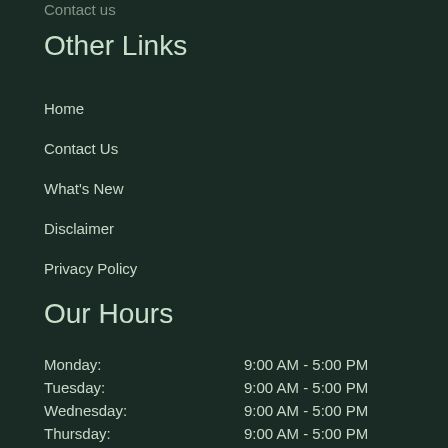Other Links
Home
Contact Us
What's New
Disclaimer
Privacy Policy
Our Hours
| Day | Hours |
| --- | --- |
| Monday: | 9:00 AM - 5:00 PM |
| Tuesday: | 9:00 AM - 5:00 PM |
| Wednesday: | 9:00 AM - 5:00 PM |
| Thursday: | 9:00 AM - 5:00 PM |
| Friday: | 9:00 AM - 5:00 PM |